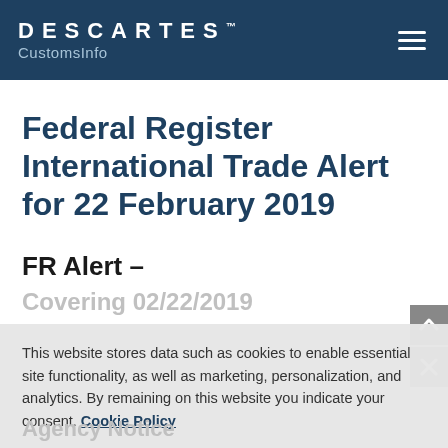DESCARTES™ CustomsInfo
Federal Register International Trade Alert for 22 February 2019
FR Alert –
Covering 02/22/2019
This website stores data such as cookies to enable essential site functionality, as well as marketing, personalization, and analytics. By remaining on this website you indicate your consent. Cookie Policy
Agency Notice